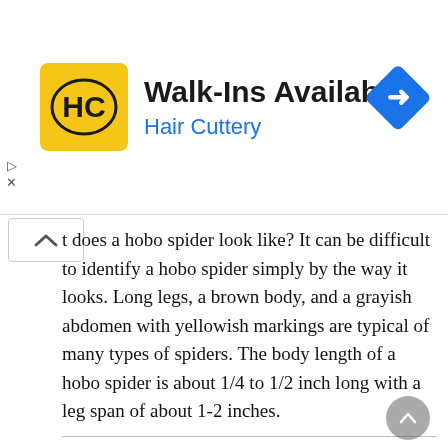[Figure (infographic): Hair Cuttery advertisement banner with HC logo on yellow background, text 'Walk-Ins Available' in bold and 'Hair Cuttery' in blue, with a blue navigation diamond icon on the right.]
t does a hobo spider look like? It can be difficult to identify a hobo spider simply by the way it looks. Long legs, a brown body, and a grayish abdomen with yellowish markings are typical of many types of spiders. The body length of a hobo spider is about 1/4 to 1/2 inch long with a leg span of about 1-2 inches.
What was riding the rods?
Confusing the question even further, in his reply to Allen, Murray uses the phrase “riding the rods.” Jim said he had asked Dempsey what the term meant and the champ said it meant riding on the struts underneath a freight car. It